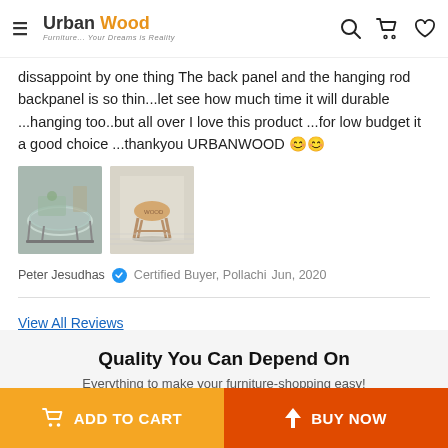Urban Wood — Furniture... Your Dreams is Reality
dissappoint by one thing The back panel and the hanging rod backpanel is so thin...let see how much time it will durable ...hanging too..but all over I love this product ...for low budget it a good choice ...thankyou URBANWOOD 😊😊
[Figure (photo): Two product review photos: a glass coffee table and a small wooden stool]
Peter Jesudhas ✓ Certified Buyer, Pollachi  Jun, 2020
View All Reviews
Quality You Can Depend On
Everything to make your furniture-shopping easy!
ADD TO CART   BUY NOW